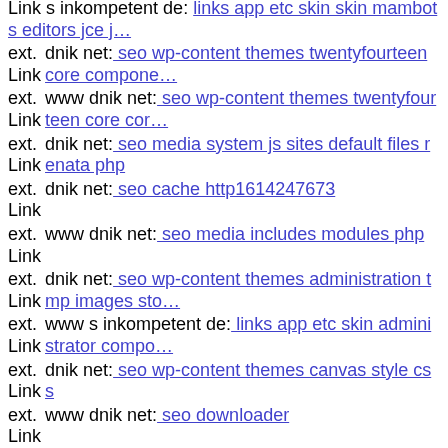Link s inkompetent de: links app etc skin skin mambots editors jce j…
ext. Link dnik net: seo wp-content themes twentyfourteen core compone…
ext. Link www dnik net: seo wp-content themes twentyfourteen core cor…
ext. Link dnik net: seo media system js sites default files renata php
ext. Link dnik net: seo cache http1614247673
ext. Link www dnik net: seo media includes modules php
ext. Link dnik net: seo wp-content themes administration tmp images sto…
ext. Link www s inkompetent de: links app etc skin administrator compo…
ext. Link dnik net: seo wp-content themes canvas style css
ext. Link www dnik net: seo downloader
ext. Link dnik net: seo js webforms upload
impressum